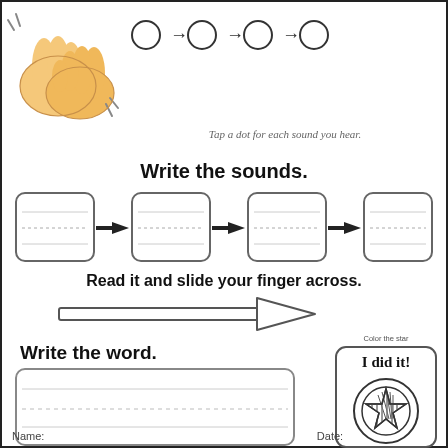[Figure (illustration): Clapping hands illustration in the top-left corner]
[Figure (infographic): Four circles connected by arrows (O → O → O → O) representing dots to tap for each sound heard]
Tap a dot for each sound you hear.
Write the sounds.
[Figure (infographic): Four writing boxes connected by bold arrows, each box containing three horizontal lines (top, dotted middle, bottom) for writing sounds]
Read it and slide your finger across.
[Figure (illustration): A long rightward-pointing arrow graphic for sliding finger across]
Write the word.
[Figure (infographic): A wide writing box with three horizontal lines (top, dotted middle, bottom) for writing the word]
[Figure (illustration): 'I did it!' badge with a star inside concentric circles, labeled 'Color the star']
Name:
Date: